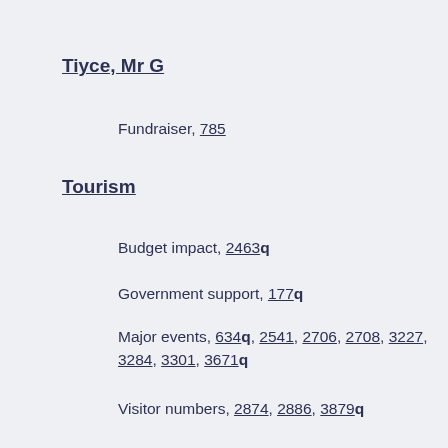Tiyce, Mr G
Fundraiser, 785
Tourism
Budget impact, 2463q
Government support, 177q
Major events, 634q, 2541, 2706, 2708, 3227, 3284, 3301, 3671q
Visitor numbers, 2874, 2886, 3879q
Trade
Singapore and Hong Kong, mnst 2694